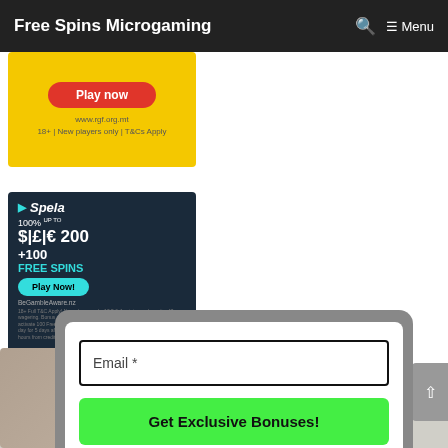Free Spins Microgaming  Menu
[Figure (photo): Yellow casino advertisement banner with red 'Play now' button and URL text www.rgf.org.mt, 18+ New players only, T&Cs Apply]
[Figure (photo): Spela casino ad on dark blue background showing 100% up to $|£|€200 +100 FREE SPINS, Play Now button, BeGambleAware.nz, with explorer character image]
[Figure (screenshot): Email subscription popup with Email * input field, green 'Get Exclusive Bonuses!' button, and a close (x) button. Partially visible figure of person behind popup.]